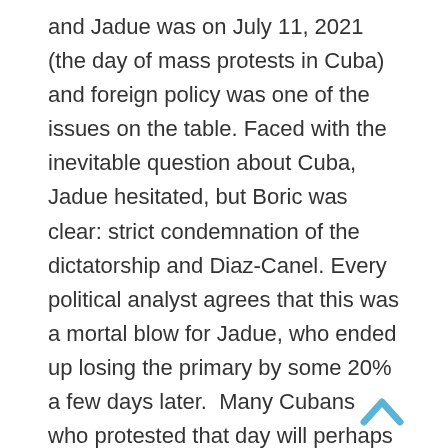and Jadue was on July 11, 2021 (the day of mass protests in Cuba) and foreign policy was one of the issues on the table. Faced with the inevitable question about Cuba, Jadue hesitated, but Boric was clear: strict condemnation of the dictatorship and Diaz-Canel. Every political analyst agrees that this was a mortal blow for Jadue, who ended up losing the primary by some 20% a few days later.  Many Cubans who protested that day will perhaps never know how their bravery influenced this victory in Chile for democracy and social justice.